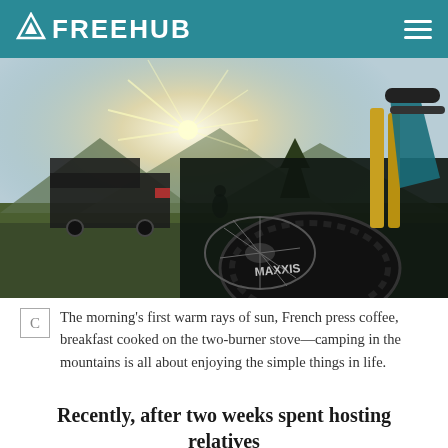FREEHUB
[Figure (photo): Mountain bikes parked at a campsite in the mountains. In the foreground, Maxxis-tire mountain bikes are visible with golden fork stanchions. In the background, a camper van is parked on grass with sunlight bursting over the mountains and trees behind it.]
The morning's first warm rays of sun, French press coffee, breakfast cooked on the two-burner stove—camping in the mountains is all about enjoying the simple things in life.
Recently, after two weeks spent hosting relatives